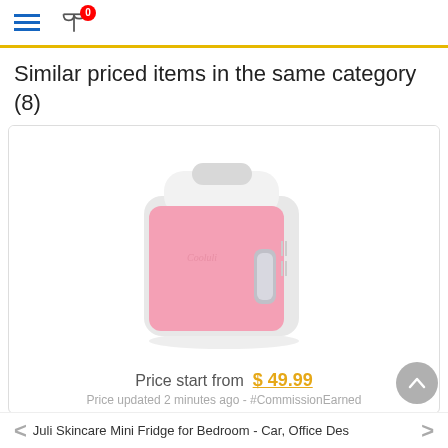Navigation header with hamburger menu and compare icon (0)
Similar priced items in the same category (8)
[Figure (photo): Pink mini fridge (Cooluli brand) with white top and silver handle, shown against white background inside a product card]
Price start from $ 49.99
Price updated 2 minutes ago - #CommissionEarned
< Juli Skincare Mini Fridge for Bedroom - Car, Office Des >